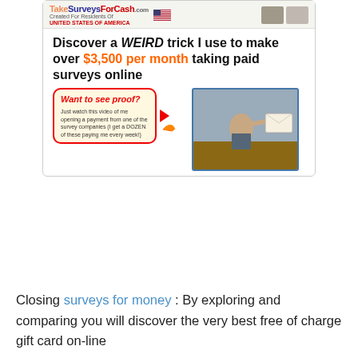[Figure (screenshot): Advertisement banner for TakeSurveysForCash.com showing headline 'Discover a WEIRD trick I use to make over $3,500 per month taking paid surveys online' with a proof video section showing a person holding a check/envelope]
Closing surveys for money : By exploring and comparing you will discover the very best free of charge gift card on-line